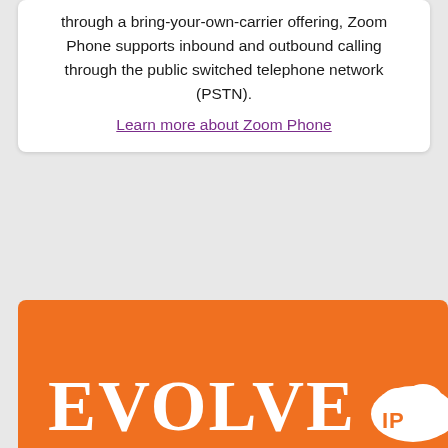through a bring-your-own-carrier offering, Zoom Phone supports inbound and outbound calling through the public switched telephone network (PSTN).
Learn more about Zoom Phone
[Figure (logo): Evolve IP logo on orange background. Large white serif text reading 'EVOLVE' with a cloud icon containing orange 'IP' text to the right.]